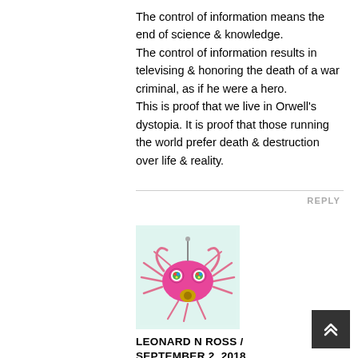The control of information means the end of science & knowledge.
The control of information results in televising & honoring the death of a war criminal, as if he were a hero.
This is proof that we live in Orwell's dystopia. It is proof that those running the world prefer death & destruction over life & reality.
REPLY
[Figure (illustration): Cartoon avatar of a pink spider-like creature with colorful eyes on a light teal background]
LEONARD N ROSS / SEPTEMBER 2, 2018